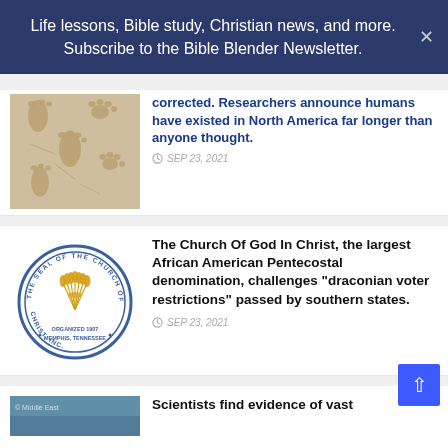Life lessons, Bible study, Christian news, and more. Subscribe to the Bible Blender Newsletter.
corrected. Researchers announce humans have existed in North America far longer than anyone thought.
SEP 23, 2021
The Church Of God In Christ, the largest African American Pentecostal denomination, challenges "draconian voter restrictions" passed by southern states.
SEP 23, 2021
Scientists find evidence of vast